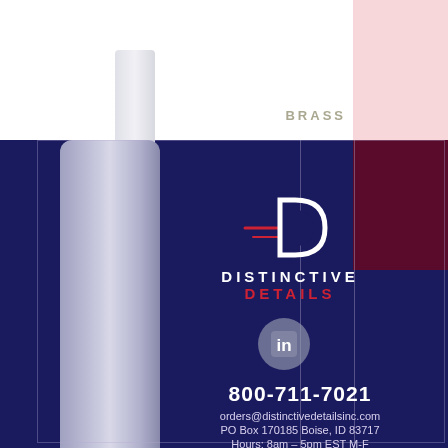[Figure (photo): White spray bottle on white background at top, transitioning to dark navy background. The bottle body is translucent grey-purple.]
BRASS
[Figure (logo): Distinctive Details logo - stylized D shape with speed lines, white 'DISTINCTIVE' text and red 'DETAILS' text]
[Figure (other): LinkedIn circular icon button]
800-711-7021
orders@distinctivedetailsinc.com
PO Box 170185 Boise, ID 83717
Hours: 8am – 5pm EST M-F